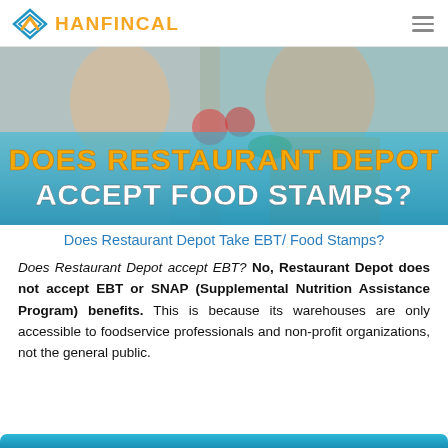HANFINCAL
[Figure (photo): Hero image showing two people in a kitchen exchanging vegetables (tomato, greens), with bold overlay text: DOES RESTAURANT DEPOT ACCEPT FOOD STAMPS?]
Does Restaurant Depot Take EBT/ Food Stamps?
Does Restaurant Depot accept EBT? No, Restaurant Depot does not accept EBT or SNAP (Supplemental Nutrition Assistance Program) benefits. This is because its warehouses are only accessible to foodservice professionals and non-profit organizations, not the general public.